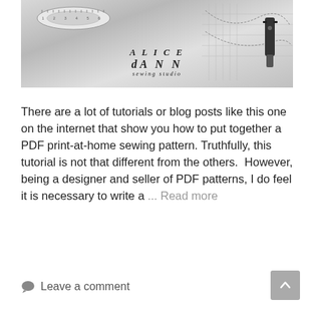[Figure (photo): Black and white photo of sewing supplies including a tape measure, scissors/clip, and pattern paper on a table with an Alice Ann Sewing Studio logo/brand watermark]
There are a lot of tutorials or blog posts like this one on the internet that show you how to put together a PDF print-at-home sewing pattern. Truthfully, this tutorial is not that different from the others.  However, being a designer and seller of PDF patterns, I do feel it is necessary to write a ... Read more
Leave a comment